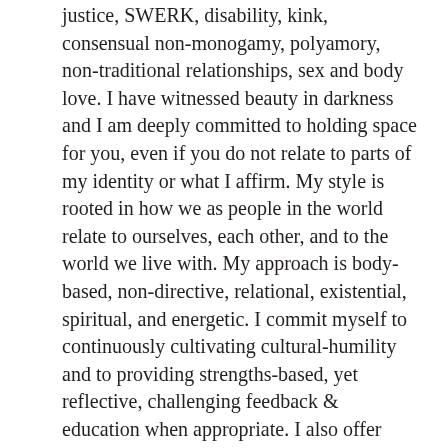justice, SWERK, disability, kink, consensual non-monogamy, polyamory, non-traditional relationships, sex and body love. I have witnessed beauty in darkness and I am deeply committed to holding space for you, even if you do not relate to parts of my identity or what I affirm. My style is rooted in how we as people in the world relate to ourselves, each other, and to the world we live with. My approach is body-based, non-directive, relational, existential, spiritual, and energetic. I commit myself to continuously cultivating cultural-humility and to providing strengths-based, yet reflective, challenging feedback & education when appropriate. I also offer other healing methods. This may look like practicing mindfulness, exploring psychological concepts, exploring ancestral or deeply rooted energy within you, utilizing nature as a resource for healing, and more.